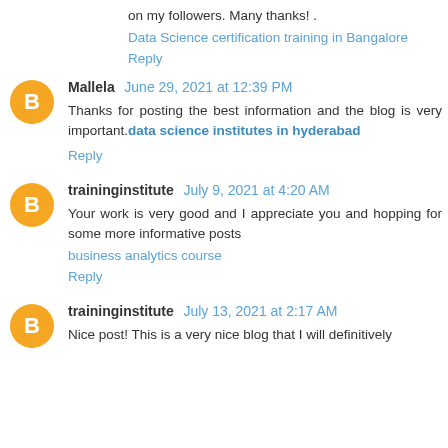on my followers. Many thanks! .
Data Science certification training in Bangalore
Reply
Mallela June 29, 2021 at 12:39 PM
Thanks for posting the best information and the blog is very important.data science institutes in hyderabad
Reply
traininginstitute July 9, 2021 at 4:20 AM
Your work is very good and I appreciate you and hopping for some more informative posts business analytics course
Reply
traininginstitute July 13, 2021 at 2:17 AM
Nice post! This is a very nice blog that I will definitively